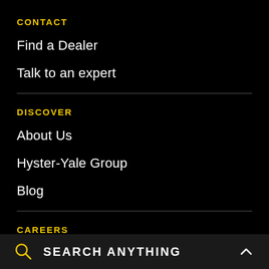CONTACT
Find a Dealer
Talk to an expert
DISCOVER
About Us
Hyster-Yale Group
Blog
CAREERS
Careers
SEARCH ANYTHING